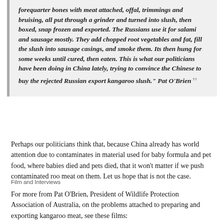forequarter bones with meat attached, offal, trimmings and bruising, all put through a grinder and turned into slush, then boxed, snap frozen and exported. The Russians use it for salami and sausage mostly. They add chopped root vegetables and fat, fill the slush into sausage casings, and smoke them. Its then hung for some weeks until cured, then eaten. This is what our politicians have been doing in China lately, trying to convince the Chinese to buy the rejected Russian export kangaroo slush." Pat O'Brien
Perhaps our politicians think that, because China already has world attention due to contaminates in material used for baby formula and pet food, where babies died and pets died, that it won't matter if we push contaminated roo meat on them. Let us hope that is not the case.
Film and Interviews
For more from Pat O'Brien, President of Wildlife Protection Association of Australia, on the problems attached to preparing and exporting kangaroo meat, see these films: